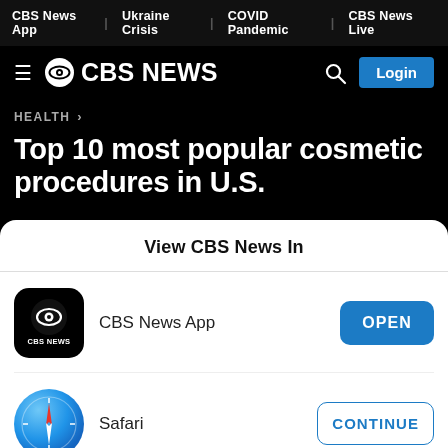CBS News App | Ukraine Crisis | COVID Pandemic | CBS News Live
[Figure (logo): CBS News logo with hamburger menu, CBS eye logo, CBS NEWS text, search icon and Login button]
HEALTH >
Top 10 most popular cosmetic procedures in U.S.
View CBS News In
[Figure (screenshot): CBS News App icon - black background with CBS eye logo and CBS NEWS text]
CBS News App
OPEN
[Figure (logo): Safari browser icon - blue compass with red needle on gradient blue background]
Safari
CONTINUE